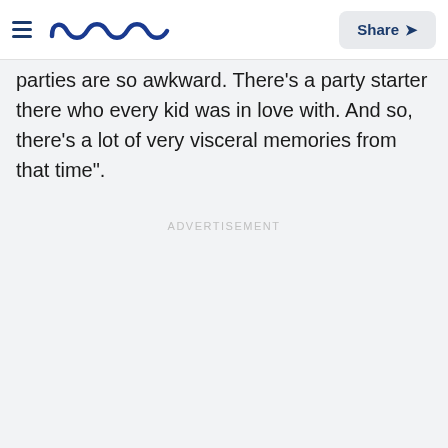Meaww | Share
parties are so awkward. There's a party starter there who every kid was in love with. And so, there's a lot of very visceral memories from that time".
ADVERTISEMENT